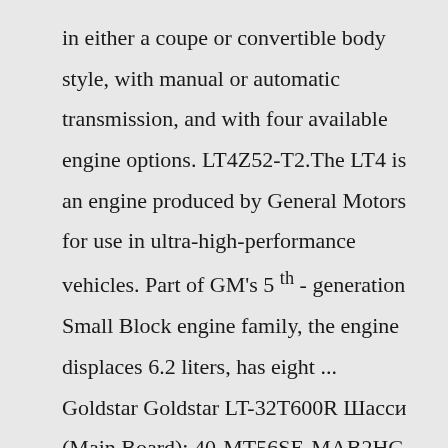in either a coupe or convertible body style, with manual or automatic transmission, and with four available engine options. LT4Z52-T2.The LT4 is an engine produced by General Motors for use in ultra-high-performance vehicles. Part of GM's 5 th - generation Small Block engine family, the engine displaces 6.2 liters, has eight ... Goldstar Goldstar LT-32T600R Шасси (Main Board): 40-MT56SE-MAB2HG.